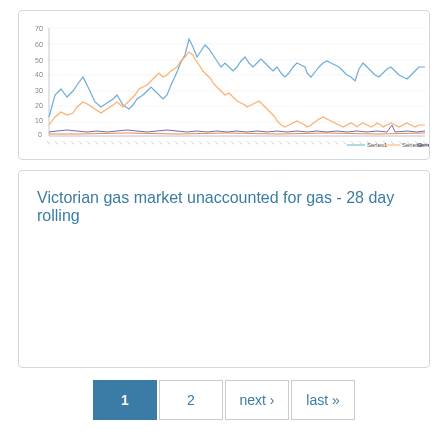[Figure (line-chart): Multi-line time series chart showing Victorian gas market data with three series (blue, orange, dark/grey lines). The blue line shows the highest volatility with peaks around 50-60 units. The x-axis shows dates over several years, y-axis ranges from approximately 0 to 70. Legend shows three series.]
Victorian gas market unaccounted for gas - 28 day rolling
1  2  next ›  last »